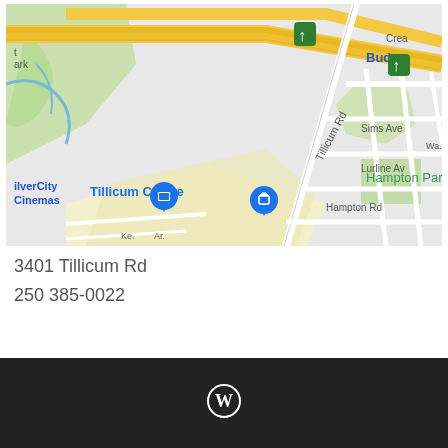[Figure (map): Google Maps view showing Tillicum Centre area in Victoria BC, with Tillicum Rd, Hampton Park, SilverCity Cinemas, Regina Ave, Sims Ave, Lurline Ave, Hampton Rd, and a Budget car rental label visible.]
3401 Tillicum Rd
250 385-0022
[Figure (logo): WordPress logo icon (circle W) in white on dark footer bar]